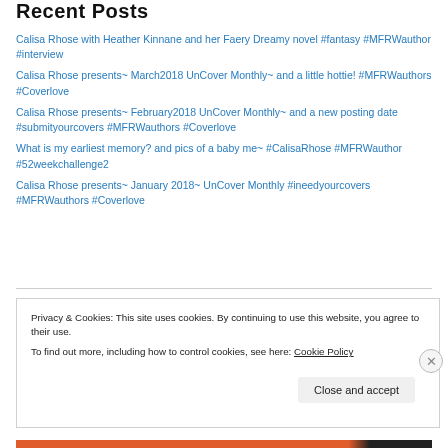Recent Posts
Calisa Rhose with Heather Kinnane and her Faery Dreamy novel #fantasy #MFRWauthor #interview
Calisa Rhose presents~ March2018 UnCover Monthly~ and a little hottie! #MFRWauthors #Coverlove
Calisa Rhose presents~ February2018 UnCover Monthly~ and a new posting date #submityourcovers #MFRWauthors #Coverlove
What is my earliest memory? and pics of a baby me~ #CalisaRhose #MFRWauthor #52weekchallenge2
Calisa Rhose presents~ January 2018~ UnCover Monthly #ineedyourcovers #MFRWauthors #Coverlove
Privacy & Cookies: This site uses cookies. By continuing to use this website, you agree to their use.
To find out more, including how to control cookies, see here: Cookie Policy
Close and accept